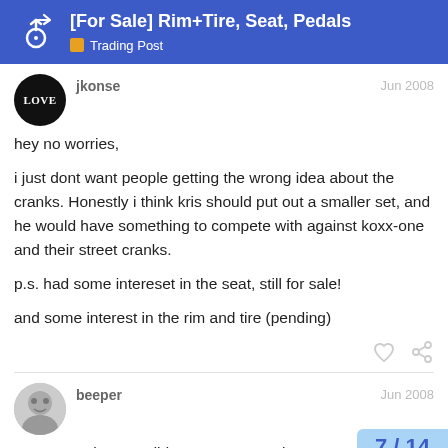[For Sale] Rim+Tire, Seat, Pedals — Trading Post
jkonse
Jun 2008
hey no worries,

i just dont want people getting the wrong idea about the cranks. Honestly i think kris should put out a smaller set, and he would have something to compete with against koxx-one and their street cranks.

p.s. had some intereset in the seat, still for sale!

and some interest in the rim and tire (pending)
beeper
Jun 2008
I must say that you did an awesome Job n